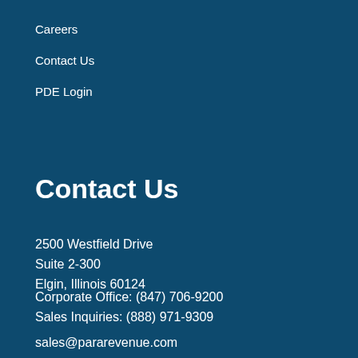Careers
Contact Us
PDE Login
Contact Us
2500 Westfield Drive
Suite 2-300
Elgin, Illinois 60124
Corporate Office: (847) 706-9200
Sales Inquiries: (888) 971-9309
sales@pararevenue.com